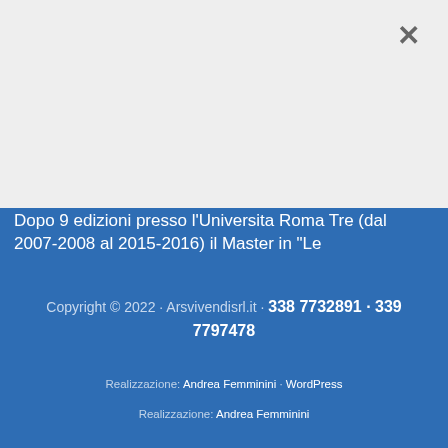[Figure (other): Light gray background area with a close (×) button in the upper right corner]
Dopo 9 edizioni presso l'Universita Roma Tre (dal 2007-2008 al 2015-2016) il Master in "Le
Copyright © 2022 · Arsvivendisrl.it · 338 7732891 · 339 7797478
Realizzazione: Andrea Femminini · WordPress
Realizzazione: Andrea Femminini